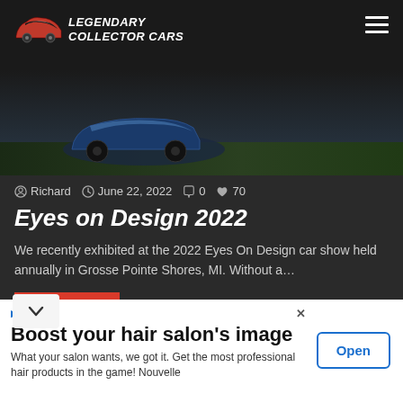[Figure (screenshot): Legendary Collector Cars website header with red and black car logo, site name in italic bold white text, hamburger menu icon top right, partial view of a blue car on dark background]
Richard  June 22, 2022  0  70
Eyes on Design 2022
We recently exhibited at the 2022 Eyes On Design car show held annually in Grosse Pointe Shores, MI. Without a…
Read More »
[Figure (photo): Interior of an auto show venue with vehicles on display, red pillars, bright overhead lighting]
Boost your hair salon's image
What your salon wants, we got it. Get the most professional hair products in the game! Nouvelle
Open